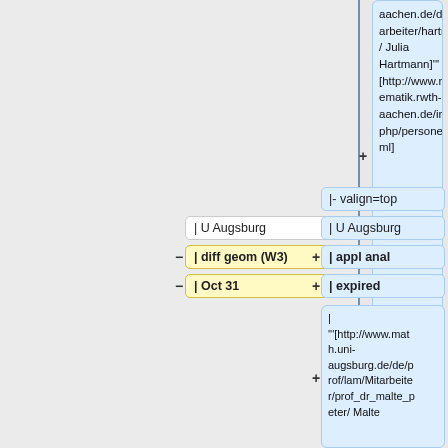aachen.de/de/mitarbeiter/hartmann/ Julia Hartmann]''' [http://www.mathematik.rwth-aachen.de/index.php/personen.html]
|- valign=top
|- valign=top
| U Augsburg
| U Augsburg
| diff geom (W3)
| appl anal
| Oct 31
| expired
| '''[http://www.math.uni-augsburg.de/de/prof/lam/Mitarbeiter/prof_dr_malte_peter/ Malte